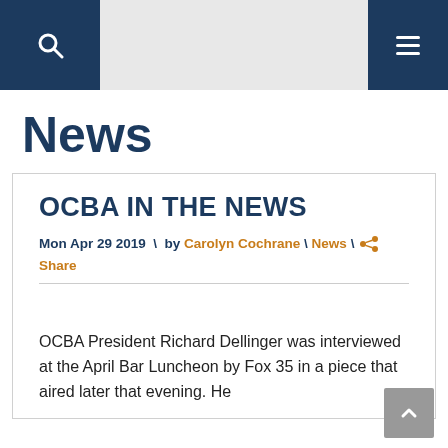News
OCBA IN THE NEWS
Mon Apr 29 2019 \ by Carolyn Cochrane \ News \ Share
OCBA President Richard Dellinger was interviewed at the April Bar Luncheon by Fox 35 in a piece that aired later that evening. He